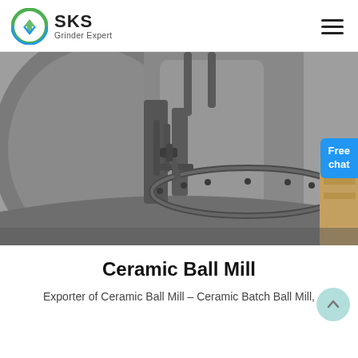SKS Grinder Expert
[Figure (photo): Close-up photo of a ceramic ball mill machine showing the mill's interior door/hatch mechanism, cylindrical drum, and bolted flange in gray metallic finish.]
Ceramic Ball Mill
Exporter of Ceramic Ball Mill – Ceramic Batch Ball Mill,